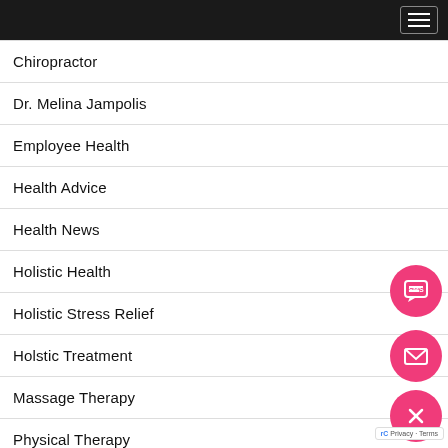Chiropractor
Dr. Melina Jampolis
Employee Health
Health Advice
Health News
Holistic Health
Holistic Stress Relief
Holstic Treatment
Massage Therapy
Physical Therapy
Pilates
Pilates Bennefits
Preventetive Health
[Figure (infographic): Three pink circular floating action buttons: SMS chat icon, envelope/mail icon, and X/close icon stacked vertically on the right side]